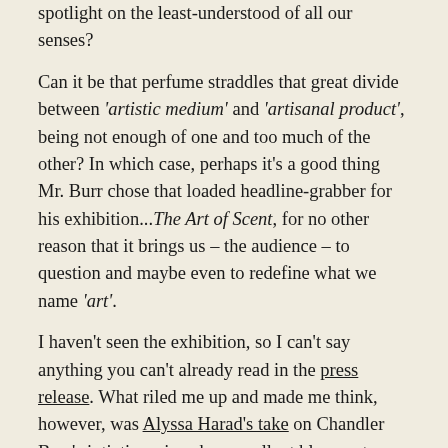spotlight on the least-understood of all our senses?
Can it be that perfume straddles that great divide between 'artistic medium' and 'artisanal product', being not enough of one and too much of the other? In which case, perhaps it's a good thing Mr. Burr chose that loaded headline-grabber for his exhibition...The Art of Scent, for no other reason that it brings us – the audience – to question and maybe even to redefine what we name 'art'.
I haven't seen the exhibition, so I can't say anything you can't already read in the press release. What riled me up and made me think, however, was Alyssa Harad's take on Chandler Burr's intiative, since her excellent blog post echoed many of the thoughts that ran through my own overheated Sunday afternoon mind, and Denyse Beaulieu's own blog post did not much more to prevent me chewing on my nails.
I'm in no position to argue whether or not perfume is an art form in its own right and with its own merits – and limitations. For one, you could say I have a vested interest.
I'm a perfume writer, and perfume happens to be one of my